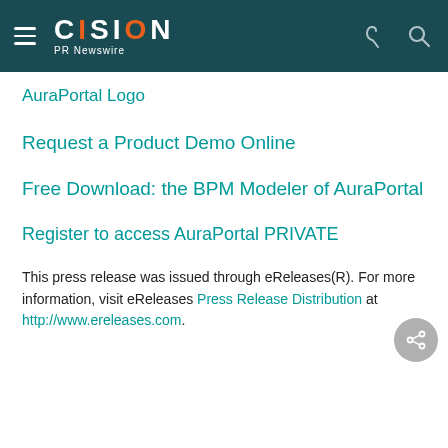CISION PR Newswire
AuraPortal Logo
Request a Product Demo Online
Free Download: the BPM Modeler of AuraPortal
Register to access AuraPortal PRIVATE
This press release was issued through eReleases(R). For more information, visit eReleases Press Release Distribution at http://www.ereleases.com.